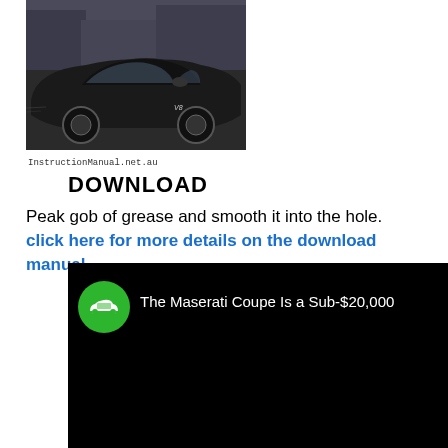[Figure (photo): Black luxury car (V8) in motion, photographed from the side, dark background]
InstructionManual.net.au
DOWNLOAD
Peak gob of grease and smooth it into the hole. click here for more details on the download manual.....
[Figure (screenshot): Video thumbnail on black background showing a green circle with white car icon and text: The Maserati Coupe Is a Sub-$20,000]